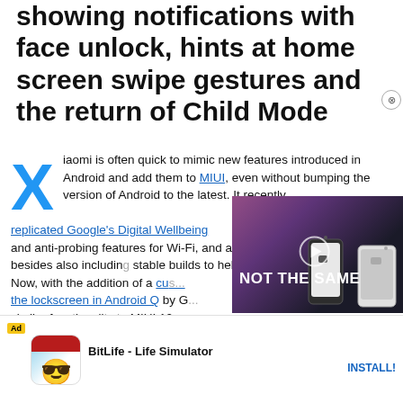showing notifications with face unlock, hints at home screen swipe gestures and the return of Child Mode
Xiaomi is often quick to mimic new features introduced in Android and add them to MIUI, even without bumping the version of Android to the latest. It recently replicated Google's Digital Wellbeing and anti-probing features for Wi-Fi, and added them to MIUI beta besides also including stable builds to help users max... Now, with the addition of a custom... the lockscreen in Android Q by G... similar functionality to MIUI 10... clock widget, MIUI 10 is also getting better at managing notifica...
[Figure (screenshot): Video player overlay showing phones with text NOT THE SAME and a play button]
[Figure (screenshot): Ad banner for BitLife - Life Simulator with install button]